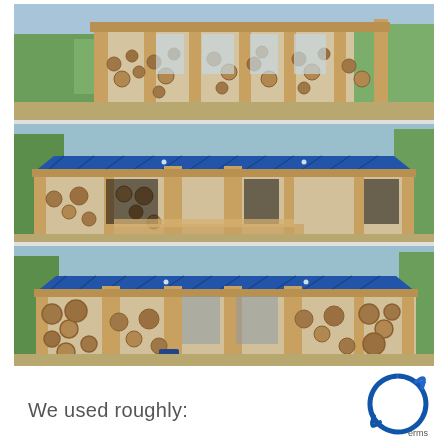[Figure (photo): Three construction photos of a cordwood (stackwood) building under construction. Top photo shows upper story with wooden posts and cordwood walls, no roof. Middle and bottom photos show the same or similar building from the front with a bright blue metal roof installed, wooden post-and-beam structure, cordwood masonry walls with visible circular wood ends, and construction materials scattered around the site.]
We used roughly:
[Figure (logo): Accessibility/terms logo — circular blue icon with a white human figure (accessibility symbol) and blue circular arrows around it, with the word 'erms' partially visible.]